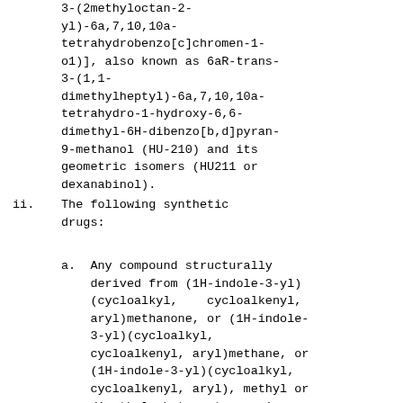3-(2methyloctan-2-yl)-6a,7,10,10a-tetrahydrobenzo[c]chromen-1-o1)], also known as 6aR-trans-3-(1,1-dimethylheptyl)-6a,7,10,10a-tetrahydro-1-hydroxy-6,6-dimethyl-6H-dibenzo[b,d]pyran-9-methanol (HU-210) and its geometric isomers (HU211 or dexanabinol).
ii.   The following synthetic drugs:
a. Any compound structurally derived from (1H-indole-3-yl)(cycloalkyl, cycloalkenyl, aryl)methanone, or (1H-indole-3-yl)(cycloalkyl, cycloalkenyl, aryl)methane, or (1H-indole-3-yl)(cycloalkyl, cycloalkenyl, aryl), methyl or dimethyl butanoate, amino-methyl (or dimethyl)-1-oxobutan-2-yl) carboxamide by substitution at the nitrogen atoms of the indole ring or